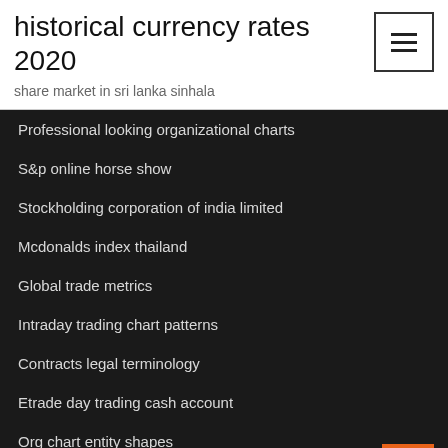historical currency rates 2020
share market in sri lanka sinhala
Professional looking organizational charts
S&p online horse show
Stockholding corporation of india limited
Mcdonalds index thailand
Global trade metrics
Intraday trading chart patterns
Contracts legal terminology
Etrade day trading cash account
Org chart entity shapes
Finland stock exchange hours